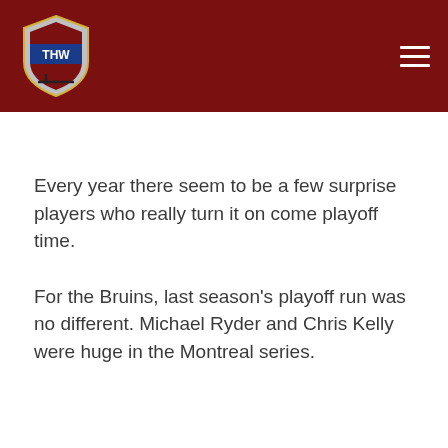THW Hockey Writers
Every year there seem to be a few surprise players who really turn it on come playoff time.
For the Bruins, last season's playoff run was no different. Michael Ryder and Chris Kelly were huge in the Montreal series.